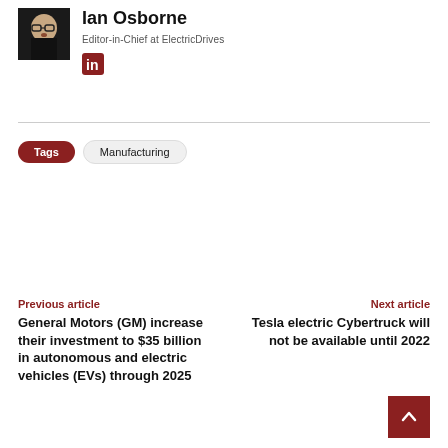[Figure (photo): Headshot photo of Ian Osborne, a man with glasses and a black top, mouth open]
Ian Osborne
Editor-in-Chief at ElectricDrives
[Figure (logo): LinkedIn logo icon in dark red/maroon color]
Tags   Manufacturing
Previous article
General Motors (GM) increase their investment to $35 billion in autonomous and electric vehicles (EVs) through 2025
Next article
Tesla electric Cybertruck will not be available until 2022